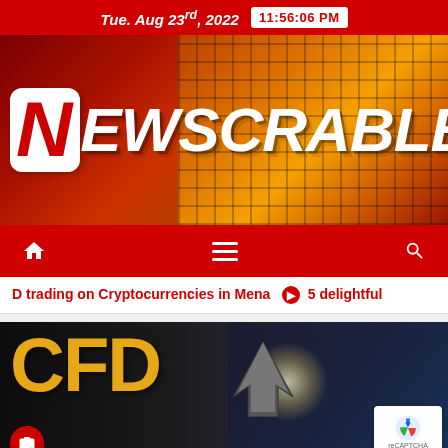Tue. Aug 23rd, 2022  11:56:06 PM
[Figure (logo): Newscrable website banner logo with mosaic tile background in red/orange tones. Large white italic text 'NEWSCRABLE' with stylized 'N' in white box with red letter.]
[Figure (screenshot): Red navigation bar with home icon on left, hamburger menu icon in center, and search icon on right.]
D trading on Cryptocurrencies in Mena  ➤  5 delightful
[Figure (photo): Dark monochrome image with large yellow/gold 'CFD' text and subtitle 'CONTRACT FOR DIFFERENCE'. Arrow graphic pointing upper right. Camera icon bottom left. reCAPTCHA overlay bottom right. Red scroll-to-top button.]